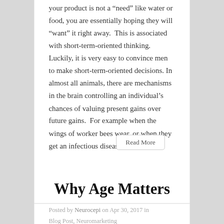your product is not a “need” like water or food, you are essentially hoping they will “want” it right away. This is associated with short-term-oriented thinking. Luckily, it is very easy to convince men to make short-term-oriented decisions. In almost all animals, there are mechanisms in the brain controlling an individual’s chances of valuing present gains over future gains. For example when the wings of worker bees wear, or when they get an infectious disease...
Read More
Why Age Matters
Posted by Neurocepi on Apr 30, 2017 in Blog Post, Neuromarketing